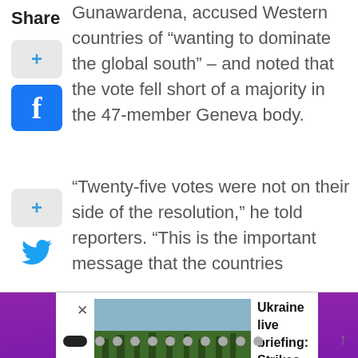Share
Gunawardena, accused Western countries of “wanting to dominate the global south” – and noted that the vote fell short of a majority in the 47-member Geneva body.
“Twenty-five votes were not on their side of the resolution,” he told reporters. “This is the important message that the countries
[Figure (photo): News article thumbnail showing forest/landscape scene for Ukraine live briefing story]
Ukraine live briefing: Strikes pound Kharkiv; blasts reported behind Russian lines